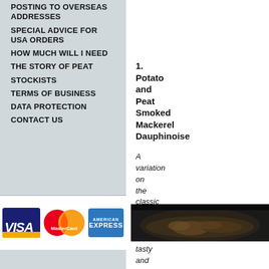POSTING TO OVERSEAS ADDRESSES
SPECIAL ADVICE FOR USA ORDERS
HOW MUCH WILL I NEED
THE STORY OF PEAT
STOCKISTS
TERMS OF BUSINESS
DATA PROTECTION
CONTACT US
[Figure (illustration): Payment card logos: VISA, MasterCard, American Express]
1. Potato and Peat Smoked Mackerel Dauphinoise
A variation on the classic potato dish that
[Figure (photo): Close-up photo of a dark pan containing a potato and smoked mackerel dauphinoise dish]
tasty and satisfying. If horseradish is